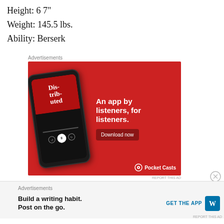Height: 6 7"
Weight: 145.5 lbs.
Ability: Berserk
Advertisements
[Figure (screenshot): Pocket Casts advertisement banner showing a smartphone with a podcast app (Distributed podcast) and text: 'An app by listeners, for listeners.' with a 'Download now' button and Pocket Casts logo on red background.]
REPORT THIS AD
Advertisements
[Figure (screenshot): WordPress.com advertisement: 'Build a writing habit. Post on the go.' with GET THE APP button and WordPress logo on light grey background.]
REPORT THIS AD